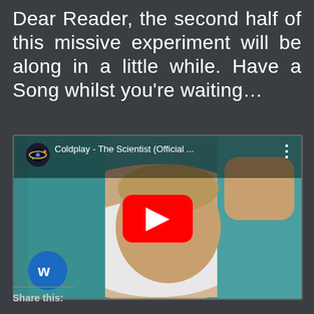Dear Reader, the second half of this missive experiment will be along in a little while. Have a Song whilst you're waiting…
[Figure (screenshot): YouTube video thumbnail showing Coldplay - The Scientist (Official ...) with a red YouTube play button in the center, channel icon top left, more options button top right, and Warner Music blue circular logo bottom left. Background shows a person lying down on a teal/green surface.]
Share this: